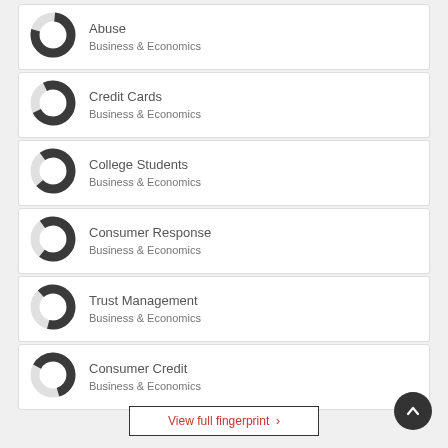Abuse — Business & Economics
Credit Cards — Business & Economics
College Students — Business & Economics
Consumer Response — Business & Economics
Trust Management — Business & Economics
Consumer Credit — Business & Economics
View full fingerprint >